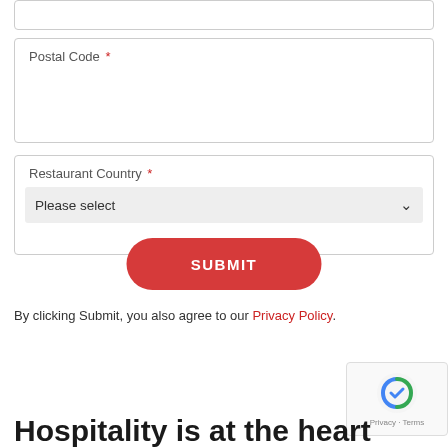Postal Code *
Restaurant Country *
Please select
SUBMIT
By clicking Submit, you also agree to our Privacy Policy.
Hospitality is at the heart